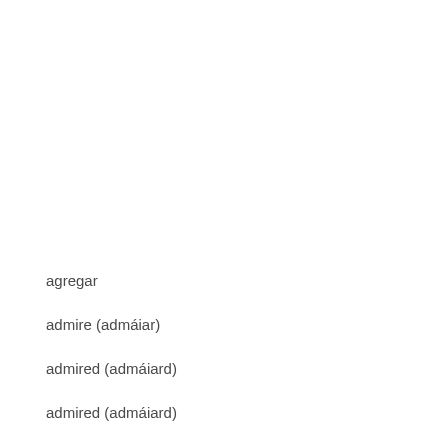agregar
admire (admáiar)
admired (admáiard)
admired (admáiard)